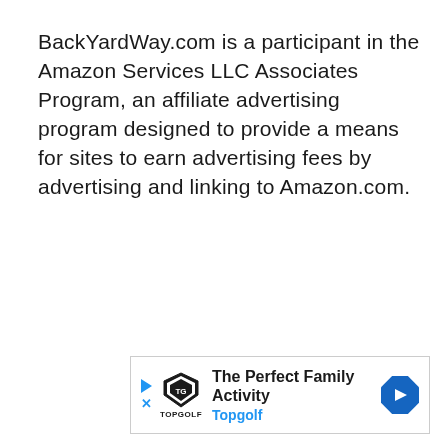BackYardWay.com is a participant in the Amazon Services LLC Associates Program, an affiliate advertising program designed to provide a means for sites to earn advertising fees by advertising and linking to Amazon.com.
[Figure (other): Advertisement banner for Topgolf with text 'The Perfect Family Activity' and 'Topgolf', featuring the Topgolf shield logo, blue play arrow, blue X icon on left, and a blue diamond navigation arrow on the right.]